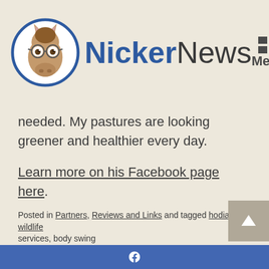NickerNews
needed. My pastures are looking greener and healthier every day.
Learn more on his Facebook page here.
Or, call or text (970) 799-3641.
Posted in Partners, Reviews and Links and tagged hodiak wildlife services, body swing